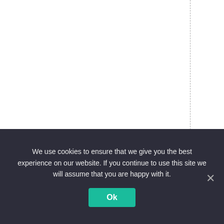[Figure (screenshot): Web page layout with white background, two dashed vertical guide lines, and vertical text reading 'dto. (For all your fr' visible on the right side, partially clipped.]
We use cookies to ensure that we give you the best experience on our website. If you continue to use this site we will assume that you are happy with it.